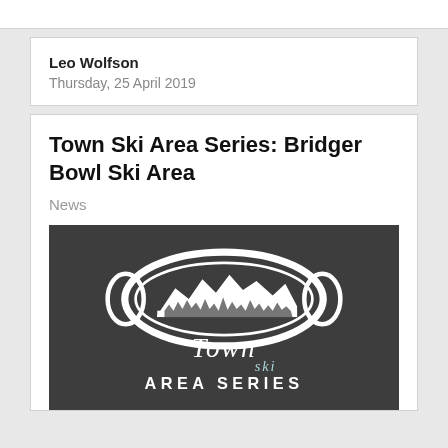Leo Wolfson
Thursday, 25 April 2019
Town Ski Area Series: Bridger Bowl Ski Area
News
[Figure (logo): Town Ski Area Series logo: ski goggles with mountain/tree silhouette inside, text 'Town ski AREA SERIES' on dark background]